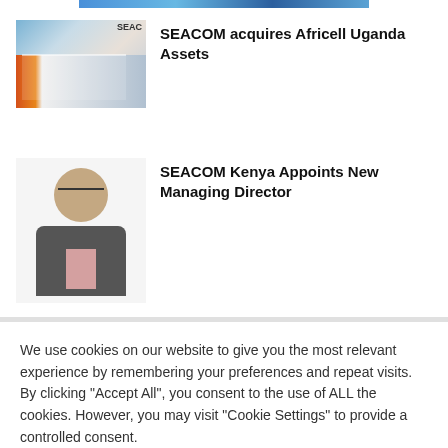[Figure (photo): Partial view of a blue digital/network themed banner image at top of page]
[Figure (photo): SEACOM building exterior with orange and white facade]
SEACOM acquires Africell Uganda Assets
[Figure (photo): Portrait photo of a man in a suit with glasses]
SEACOM Kenya Appoints New Managing Director
We use cookies on our website to give you the most relevant experience by remembering your preferences and repeat visits. By clicking "Accept All", you consent to the use of ALL the cookies. However, you may visit "Cookie Settings" to provide a controlled consent.